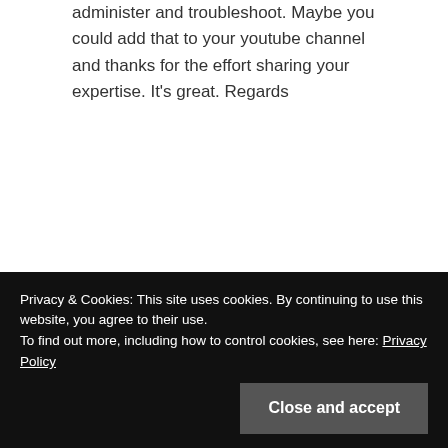administer and troubleshoot. Maybe you could add that to your youtube channel and thanks for the effort sharing your expertise. It's great. Regards
Reply
Larry Sokoloski says:
March 14, 2019 at 2:03 pm
Privacy & Cookies: This site uses cookies. By continuing to use this website, you agree to their use.
To find out more, including how to control cookies, see here: Privacy Policy
Close and accept